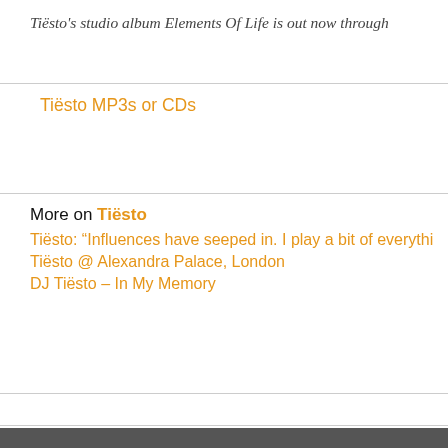Tiësto's studio album Elements Of Life is out now through
Tiësto MP3s or CDs
More on Tiësto
Tiësto: “Influences have seeped in. I play a bit of everythi
Tiësto @ Alexandra Palace, London
DJ Tiësto – In My Memory